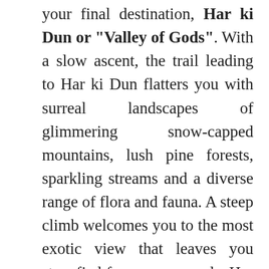your final destination, Har ki Dun or "Valley of Gods". With a slow ascent, the trail leading to Har ki Dun flatters you with surreal landscapes of glimmering snow-capped mountains, lush pine forests, sparkling streams and a diverse range of flora and fauna. A steep climb welcomes you to the most exotic view that leaves you stupefied for some seconds. Har ki Dun with its spectacular beauty spread over a snow-covered expanse (from October to March) or a lush green meadow (from April to September) beckons you into a warm embrace. Azure blue skies and gurgling stream traversing its way through verdant greens is a scene from the calendar. Soak in the tranquil beauty of the place, witness the stunning views of Bandarpoonch and Swargarohini peaks, inhale